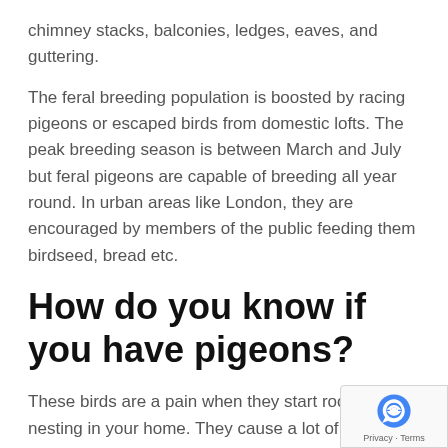chimney stacks, balconies, ledges, eaves, and guttering.
The feral breeding population is boosted by racing pigeons or escaped birds from domestic lofts. The peak breeding season is between March and July but feral pigeons are capable of breeding all year round. In urban areas like London, they are encouraged by members of the public feeding them birdseed, bread etc.
How do you know if you have pigeons?
These birds are a pain when they start roosting and nesting in your home. They cause a lot of problems for homeowners and businesses  alike. The following are some of the signs of these birds infesting your pro…